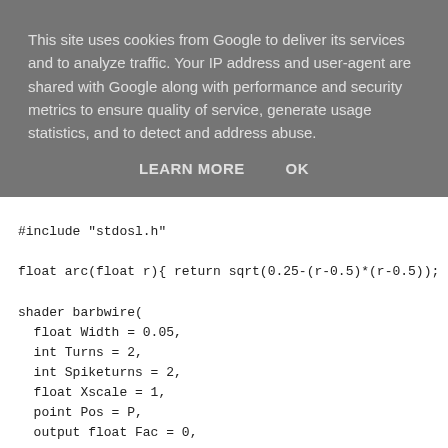This site uses cookies from Google to deliver its services and to analyze traffic. Your IP address and user-agent are shared with Google along with performance and security metrics to ensure quality of service, generate usage statistics, and to detect and address abuse.
LEARN MORE    OK
#include "stdosl.h"

float arc(float r){ return sqrt(0.25-(r-0.5)*(r-0.5)); }

shader barbwire(
  float Width = 0.05,
  int Turns = 2,
  int Spiketurns = 2,
  float Xscale = 1,
  point Pos = P,
  output float Fac = 0,
  output float Displ = 0
){
  float x = mod(Pos[0],1);
  float y = mod(Pos[1],1);

  if ( x > 0.5 ) {